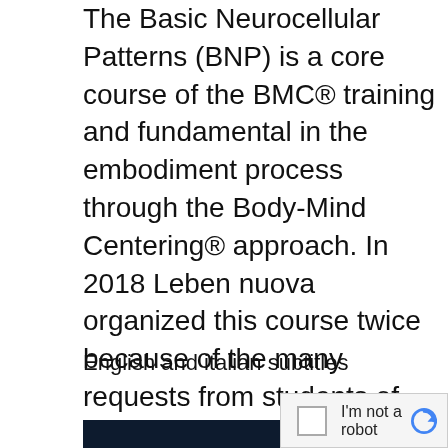The Basic Neurocellular Patterns (BNP) is a core course of the BMC® training and fundamental in the embodiment process through the Body-Mind Centering® approach. In 2018 Leben nuova organized this course twice because of the many requests from students of different countries and fields of interest: dance, movement education, school education, rehabilitation, psychotherapy and others. Faculty were Gloria Desideri, Olive Bieringa, Anne Expert and Thomas Greil.
English and italian subtitles
please confirm that youâ€™re a human (and not a spambot).
[Figure (screenshot): reCAPTCHA widget with 'I'm not a robot' checkbox and reCAPTCHA logo]